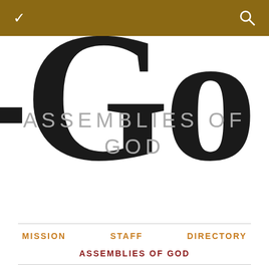Navigation bar with chevron and search icon
[Figure (logo): Large cropped letters forming background logo text for Assemblies of God]
ASSEMBLIES OF GOD
MISSION
STAFF
DIRECTORY
ASSEMBLIES OF GOD